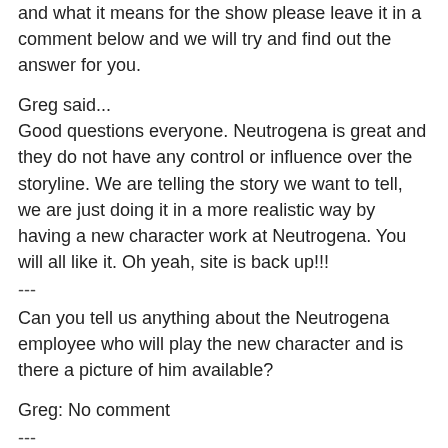and what it means for the show please leave it in a comment below and we will try and find out the answer for you.
Greg said...
Good questions everyone. Neutrogena is great and they do not have any control or influence over the storyline. We are telling the story we want to tell, we are just doing it in a more realistic way by having a new character work at Neutrogena. You will all like it. Oh yeah, site is back up!!!
---
Can you tell us anything about the Neutrogena employee who will play the new character and is there a picture of him available?
Greg: No comment
---
Is the deal with Neutrogena long term or is it only for a few episodes (at this stage).
Greg: Deal is for a couple months - not every video, but character is woven into the plot line during that time.
---
Who initiated the deal with Neutrogena and how did it come